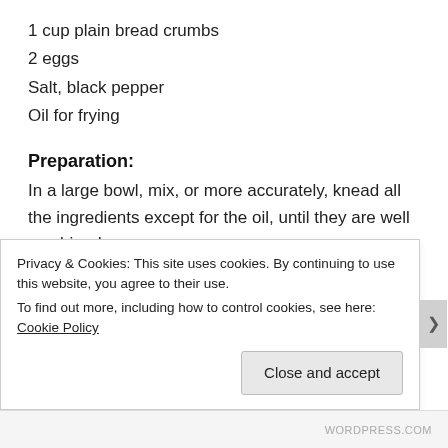1 cup plain bread crumbs
2 eggs
Salt, black pepper
Oil for frying
Preparation:
In a large bowl, mix, or more accurately, knead all the ingredients except for the oil, until they are well combined.
In a large sauté pan, heat the oil well. While the oil is
Privacy & Cookies: This site uses cookies. By continuing to use this website, you agree to their use.
To find out more, including how to control cookies, see here: Cookie Policy